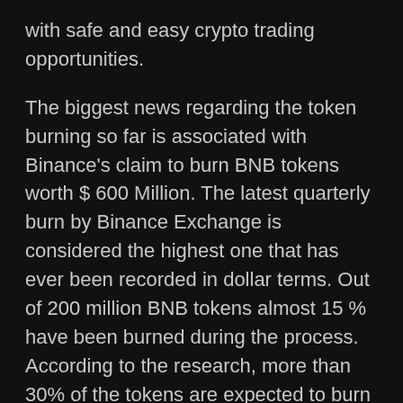with safe and easy crypto trading opportunities.
The biggest news regarding the token burning so far is associated with Binance's claim to burn BNB tokens worth $ 600 Million. The latest quarterly burn by Binance Exchange is considered the highest one that has ever been recorded in dollar terms. Out of 200 million BNB tokens almost 15 % have been burned during the process. According to the research, more than 30% of the tokens are expected to burn in upcoming years.
The burn session from January to March 2021, was the 15th burn of BNB tokens. The overall BNB supply is